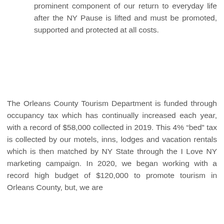prominent component of our return to everyday life after the NY Pause is lifted and must be promoted, supported and protected at all costs.
The Orleans County Tourism Department is funded through occupancy tax which has continually increased each year, with a record of $58,000 collected in 2019. This 4% “bed” tax is collected by our motels, inns, lodges and vacation rentals which is then matched by NY State through the I Love NY marketing campaign. In 2020, we began working with a record high budget of $120,000 to promote tourism in Orleans County, but, we are